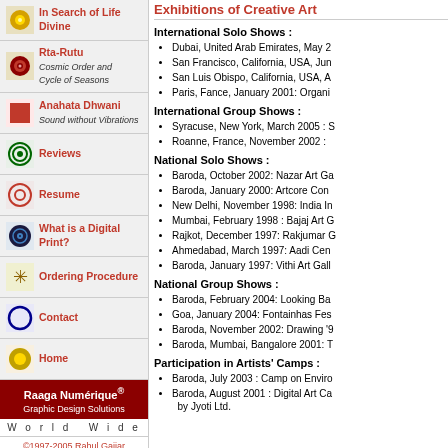In Search of Life Divine
Rta-Rutu
Cosmic Order and Cycle of Seasons
Anahata Dhwani
Sound without Vibrations
Reviews
Resume
What is a Digital Print?
Ordering Procedure
Contact
Home
Raaga Numérique®
Graphic Design Solutions
W o r l d  W i d e
©1997-2005 Rahul Gajjar
Exhibitions of Creative Art
International Solo Shows :
Dubai, United Arab Emirates, May 2
San Francisco, California, USA, Jun
San Luis Obispo, California, USA, A
Paris, Fance, January 2001: Organi
International Group Shows :
Syracuse, New York, March 2005 : S
Roanne, France, November 2002 :
National Solo Shows :
Baroda, October 2002: Nazar Art Ga
Baroda, January 2000: Artcore Con
New Delhi, November 1998: India In
Mumbai, February 1998 : Bajaj Art G
Rajkot, December 1997: Rakjumar G
Ahmedabad, March 1997: Aadi Cen
Baroda, January 1997: Vithi Art Gall
National Group Shows :
Baroda, February 2004: Looking Ba
Goa, January 2004: Fontainhas Fes
Baroda, November 2002: Drawing '9
Baroda, Mumbai, Bangalore 2001: T
Participation in Artists' Camps :
Baroda, July 2003 : Camp on Enviro
Baroda, August 2001 : Digital Art Ca by Jyoti Ltd.